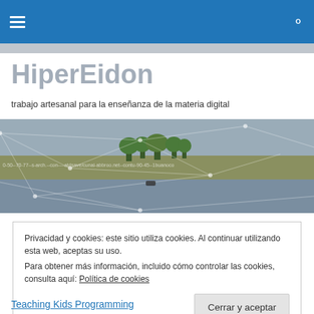HiperEidon — navigation bar with hamburger menu and search icon
HiperEidon
trabajo artesanal para la enseñanza de la materia digital
[Figure (photo): Hero banner image showing a landscape with trees and a road, overlaid with network connection lines and URL text]
Privacidad y cookies: este sitio utiliza cookies. Al continuar utilizando esta web, aceptas su uso.
Para obtener más información, incluido cómo controlar las cookies, consulta aquí: Política de cookies
Cerrar y aceptar
Teaching Kids Programming